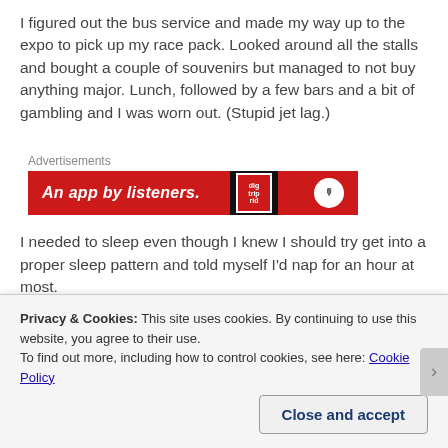I figured out the bus service and made my way up to the expo to pick up my race pack. Looked around all the stalls and bought a couple of souvenirs but managed to not buy anything major. Lunch, followed by a few bars and a bit of gambling and I was worn out. (Stupid jet lag.)
Advertisements
[Figure (screenshot): Red advertisement banner reading 'An app by listeners.' with a phone graphic and podcast logo on the right]
I needed to sleep even though I knew I should try get into a proper sleep pattern and told myself I'd nap for an hour at most.
Privacy & Cookies: This site uses cookies. By continuing to use this website, you agree to their use.
To find out more, including how to control cookies, see here: Cookie Policy
Close and accept